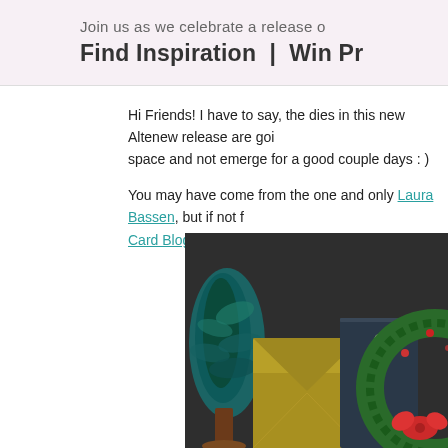Join us as we celebrate a release of | Find Inspiration | Win Pr
Hi Friends! I have to say, the dies in this new Altenew release are goi… space and not emerge for a good couple days : )
You may have come from the one and only Laura Bassen, but if not f… Card Blog.
[Figure (photo): Flat lay photo on dark background showing craft supplies: a bottle brush Christmas tree, gold/olive envelope, dark blue-grey card with candle embellishment, and a green wreath die cut with red accent]